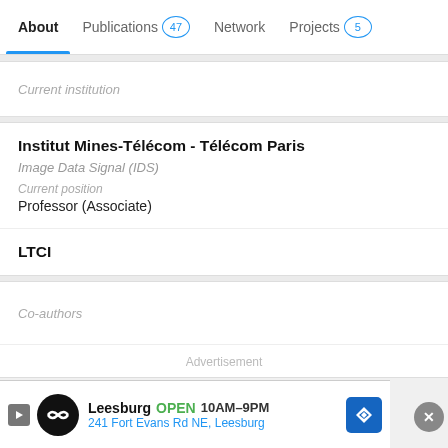About  Publications 47  Network  Projects 5
Current institution
Institut Mines-Télécom - Télécom Paris
Image Data Signal (IDS)
Current position
Professor (Associate)
LTCI
Co-authors
Advertisement
[Figure (screenshot): Advertisement banner for Leesburg store: circular logo icon, 'Leesburg OPEN 10AM–9PM', '241 Fort Evans Rd NE, Leesburg', and a blue diamond navigation icon. Close button (×) on the right.]